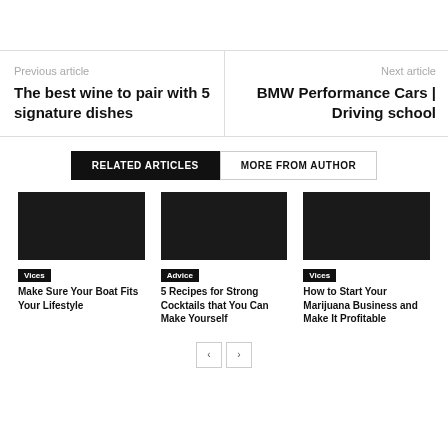Previous article
The best wine to pair with 5 signature dishes
Next article
BMW Performance Cars | Driving school
RELATED ARTICLES
MORE FROM AUTHOR
Vices
Make Sure Your Boat Fits Your Lifestyle
Advice
5 Recipes for Strong Cocktails that You Can Make Yourself
Vices
How to Start Your Marijuana Business and Make It Profitable